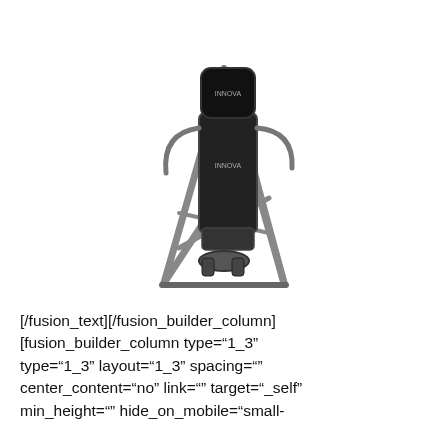[Figure (photo): An Innova brand inversion table with black padded back rest and headrest, gray metal frame, and ankle clamp mechanism at the base. The table is shown upright at a slight angle on a white background.]
[/fusion_text][/fusion_builder_column][fusion_builder_column type="1_3" type="1_3" layout="1_3" spacing="" center_content="no" link="" target="_self" min_height="" hide_on_mobile="small-